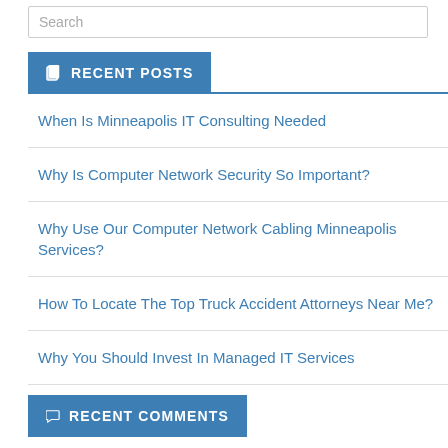Search
RECENT POSTS
When Is Minneapolis IT Consulting Needed
Why Is Computer Network Security So Important?
Why Use Our Computer Network Cabling Minneapolis Services?
How To Locate The Top Truck Accident Attorneys Near Me?
Why You Should Invest In Managed IT Services
RECENT COMMENTS